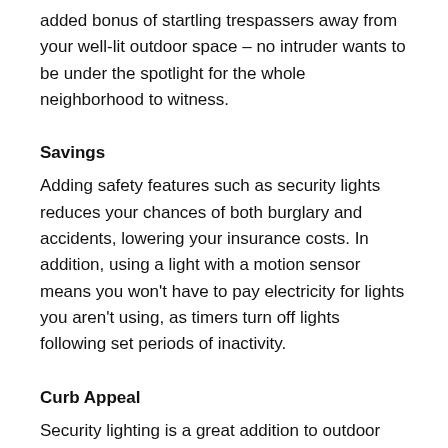added bonus of startling trespassers away from your well-lit outdoor space – no intruder wants to be under the spotlight for the whole neighborhood to witness.
Savings
Adding safety features such as security lights reduces your chances of both burglary and accidents, lowering your insurance costs. In addition, using a light with a motion sensor means you won't have to pay electricity for lights you aren't using, as timers turn off lights following set periods of inactivity.
Curb Appeal
Security lighting is a great addition to outdoor décor and make your home or business look well cared for.
Motion Sensors Inside Your Home: Room